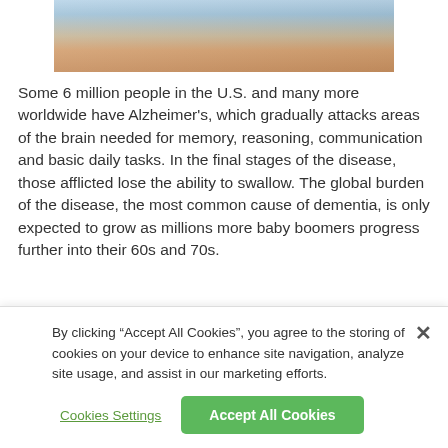[Figure (photo): Partial photo of a child holding a round bowl, cropped at top showing torso and hands]
Some 6 million people in the U.S. and many more worldwide have Alzheimer’s, which gradually attacks areas of the brain needed for memory, reasoning, communication and basic daily tasks. In the final stages of the disease, those afflicted lose the ability to swallow. The global burden of the disease, the most common cause of dementia, is only expected to grow as millions more baby boomers progress further into their 60s and 70s.
By clicking “Accept All Cookies”, you agree to the storing of cookies on your device to enhance site navigation, analyze site usage, and assist in our marketing efforts.